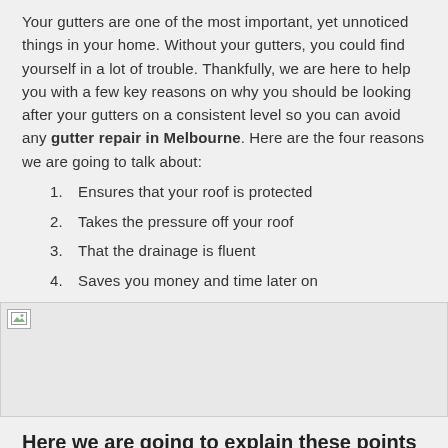Your gutters are one of the most important, yet unnoticed things in your home. Without your gutters, you could find yourself in a lot of trouble. Thankfully, we are here to help you with a few key reasons on why you should be looking after your gutters on a consistent level so you can avoid any gutter repair in Melbourne. Here are the four reasons we are going to talk about:
1. Ensures that your roof is protected
2. Takes the pressure off your roof
3. That the drainage is fluent
4. Saves you money and time later on
[Figure (photo): Broken/missing image placeholder]
Here we are going to explain these points in more detail: